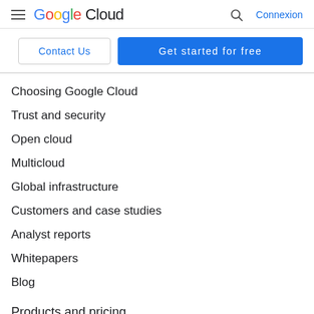Google Cloud — Connexion
[Figure (screenshot): Google Cloud navigation header with hamburger menu, Google Cloud logo, search icon, and Connexion link]
Contact Us | Get started for free
Choosing Google Cloud
Trust and security
Open cloud
Multicloud
Global infrastructure
Customers and case studies
Analyst reports
Whitepapers
Blog
Products and pricing